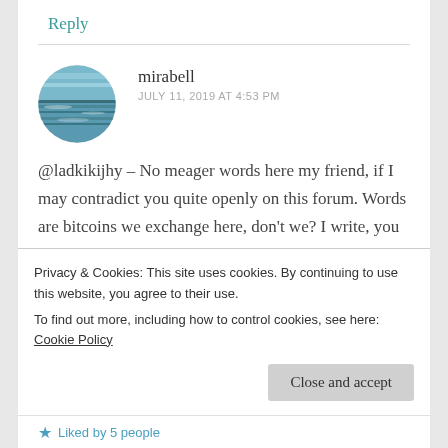Reply
mirabell
JULY 11, 2019 AT 4:53 PM
@ladkikijhy – No meager words here my friend, if I may contradict you quite openly on this forum. Words are bitcoins we exchange here, don't we? I write, you write back and those are the threads we weave
Privacy & Cookies: This site uses cookies. By continuing to use this website, you agree to their use.
To find out more, including how to control cookies, see here: Cookie Policy
Close and accept
Liked by 5 people